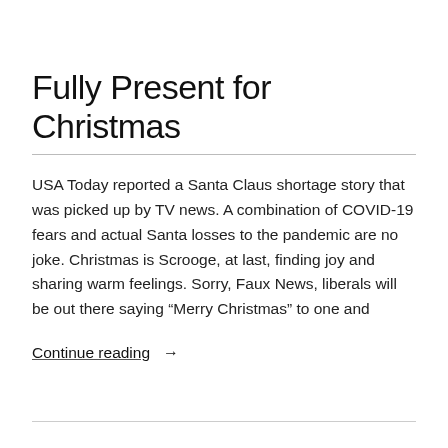Fully Present for Christmas
USA Today reported a Santa Claus shortage story that was picked up by TV news. A combination of COVID-19 fears and actual Santa losses to the pandemic are no joke. Christmas is Scrooge, at last, finding joy and sharing warm feelings. Sorry, Faux News, liberals will be out there saying “Merry Christmas” to one and
Continue reading →